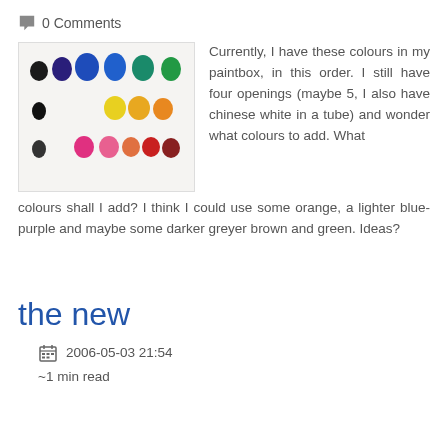💬 0 Comments
[Figure (photo): A paintbox palette showing rows of watercolour paint dots: top row has dark colours (black, dark blue, blues, teal, green), middle row has yellow and orange dots, bottom row has pink, orange, red, and brown dots.]
Currently, I have these colours in my paintbox, in this order. I still have four openings (maybe 5, I also have chinese white in a tube) and wonder what colours to add. What colours shall I add? I think I could use some orange, a lighter blue-purple and maybe some darker greyer brown and green. Ideas?
the new
2006-05-03 21:54
~1 min read